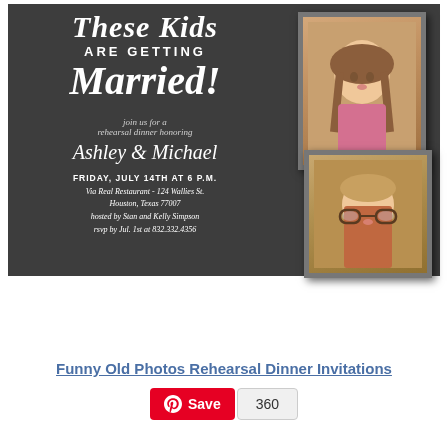[Figure (illustration): Chalkboard-style rehearsal dinner invitation reading 'These Kids ARE GETTING Married!' with script text 'join us for a rehearsal dinner honoring Ashley & Michael' and event details: FRIDAY, JULY 14TH AT 6 P.M., Via Real Restaurant - 124 Wallies St., Houston, Texas 77007, hosted by Stan and Kelly Simpson, rsvp by Jul. 1st at 832.332.4356. Two vintage childhood school photos are shown on the right side — a girl with pigtails and a boy with glasses.]
Funny Old Photos Rehearsal Dinner Invitations
Save 360